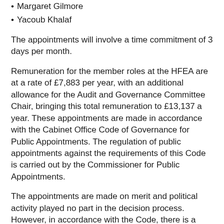Margaret Gilmore
Yacoub Khalaf
The appointments will involve a time commitment of 3 days per month.
Remuneration for the member roles at the HFEA are at a rate of £7,883 per year, with an additional allowance for the Audit and Governance Committee Chair, bringing this total remuneration to £13,137 a year. These appointments are made in accordance with the Cabinet Office Code of Governance for Public Appointments. The regulation of public appointments against the requirements of this Code is carried out by the Commissioner for Public Appointments.
The appointments are made on merit and political activity played no part in the decision process. However, in accordance with the Code, there is a requirement for appointees' political activity (if any declared) to be made public. None have declared any political activity.
View Announcement